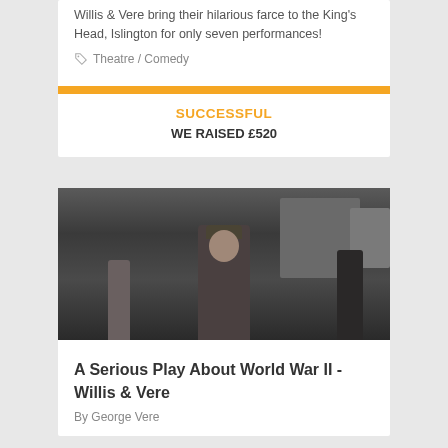Willis & Vere bring their hilarious farce to the King's Head, Islington for only seven performances!
Theatre / Comedy
SUCCESSFUL
WE RAISED £520
[Figure (photo): Black and white photograph of a person in military uniform and cap standing in the foreground, with other figures and buildings in the background.]
A Serious Play About World War II - Willis & Vere
By George Vere